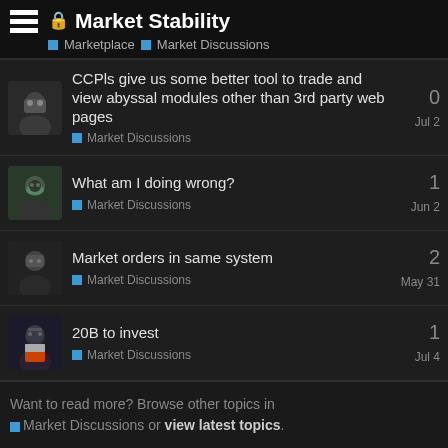Market Stability — Marketplace > Market Discussions
CCPls give us some better tool to trade and view abyssal modules other than 3rd party web pages — Market Discussions — Jul 2 — 0 replies
What am I doing wrong? — Market Discussions — Jun 2 — 1 reply
Market orders in same system — Market Discussions — May 31 — 2 replies
20B to invest — Market Discussions — Jul 4 — 1 reply
Want to read more? Browse other topics in Market Discussions or view latest topics.